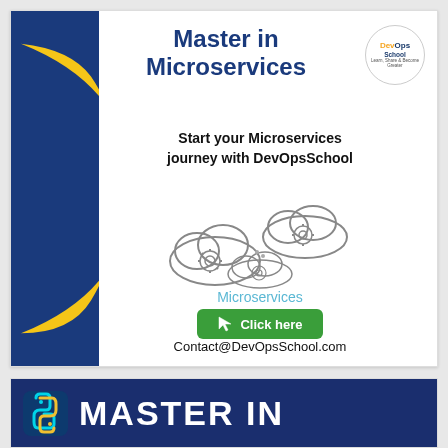[Figure (infographic): DevOpsSchool advertisement banner for 'Master in Microservices' course. Features a dark blue and yellow crescent design on the left, DevOps School circular logo top right, bold title 'Master in Microservices', subtitle 'Start your Microservices journey with DevOpsSchool', cloud/gear icons illustration, 'Microservices' label in light blue, green 'Click here' button, and contact email Contact@DevOpsSchool.com]
[Figure (infographic): Partial banner at bottom showing dark blue background with a cyan Python logo icon on the left and large white bold 'MASTER IN' text — beginning of a second advertisement card.]